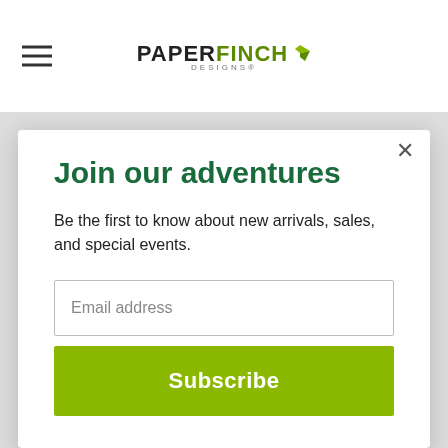PAPERFINCH DESIGNS
was like home away from home.
Once we did make it out of the room for a
Join our adventures
Be the first to know about new arrivals, sales, and special events.
Email address
Subscribe